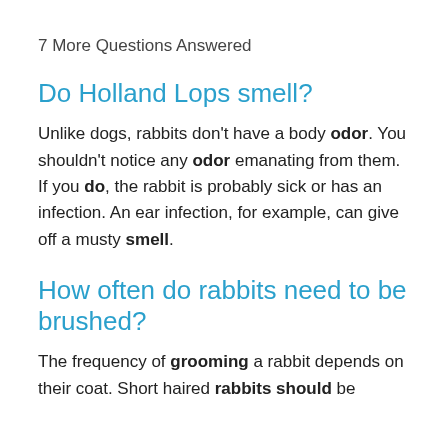7 More Questions Answered
Do Holland Lops smell?
Unlike dogs, rabbits don't have a body odor. You shouldn't notice any odor emanating from them. If you do, the rabbit is probably sick or has an infection. An ear infection, for example, can give off a musty smell.
How often do rabbits need to be brushed?
The frequency of grooming a rabbit depends on their coat. Short haired rabbits should be